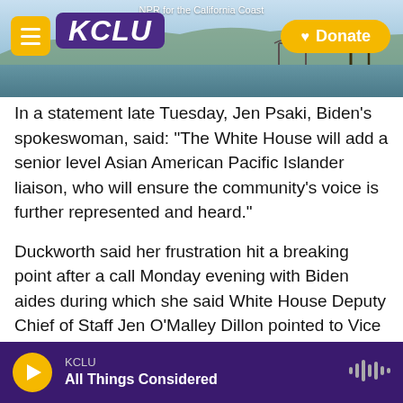[Figure (screenshot): KCLU NPR station header banner with coastal background, yellow hamburger menu button, purple KCLU logo, and yellow Donate button. Text at top: 'NPR for the California Coast']
In a statement late Tuesday, Jen Psaki, Biden's spokeswoman, said: "The White House will add a senior level Asian American Pacific Islander liaison, who will ensure the community's voice is further represented and heard."
Duckworth said her frustration hit a breaking point after a call Monday evening with Biden aides during which she said White House Deputy Chief of Staff Jen O'Malley Dillon pointed to Vice President Harris' South Asian heritage.
"Last night, that was the trigger for me," Duckworth
KCLU | All Things Considered